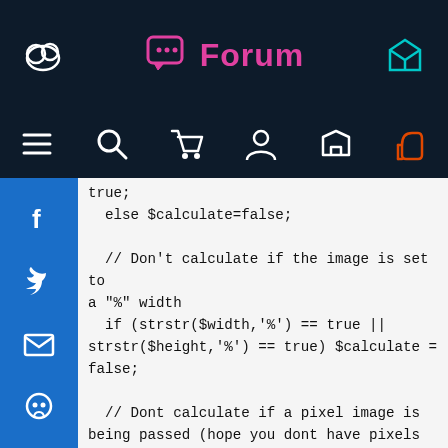Forum
[Figure (screenshot): Navigation icon bar with menu, search, cart, user, mail, and thumb icons on dark background]
true;
    else $calculate=false;

    // Don't calculate if the image is set to a "%" width
    if (strstr($width,'%') == true || strstr($height,'%') == true) $calculate = false;

    // Dont calculate if a pixel image is being passed (hope you dont have pixels for sale)
    if (strstr($image, 'pixel')) $calculate = false;


        $image_size = @getimagesize($src);